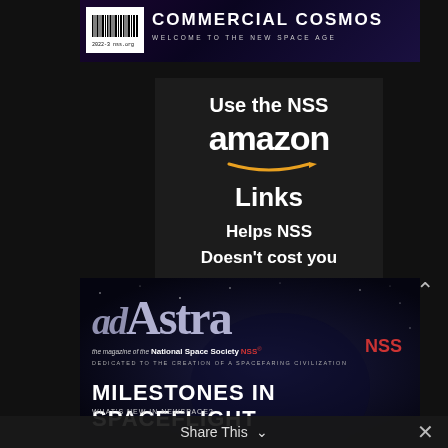[Figure (illustration): Magazine cover strip: 'COMMERCIAL COSMOS - WELCOME TO THE NEW SPACE AGE' with barcode, dark space background]
[Figure (infographic): Dark advertisement block: 'Use the NSS amazon Links Helps NSS Doesn't cost you' with Amazon logo and arrow]
[Figure (illustration): Ad Astra magazine cover: 'adAstra - the magazine of the National Space Society NSS - DEDICATED TO THE CREATION OF A SPACEFARING CIVILIZATION - MILESTONES IN SPACEFLIGHT - WHAT'S NEW IN NEWSPACE?']
Share This